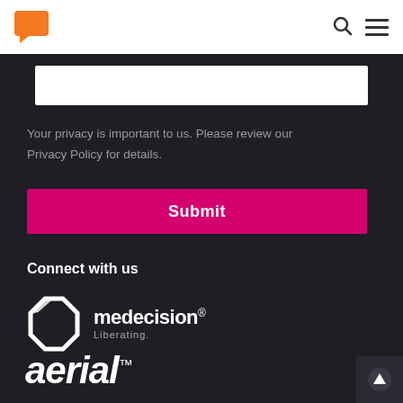[Figure (logo): Orange chat bubble logo in top nav bar]
[Figure (logo): Medecision logo with octagon icon and 'Liberating.' tagline]
[Figure (logo): Aerial logo in white italic bold text with trademark symbol]
Your privacy is important to us. Please review our Privacy Policy for details.
Submit
Connect with us